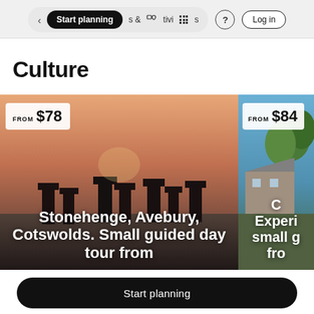Start planning  & Activities  ?  Log in
Culture
[Figure (photo): Stonehenge at sunset with warm orange sky, stones silhouetted. Price badge showing FROM $78. Caption: Stonehenge, Avebury, Cotswolds. Small guided day tour from]
[Figure (photo): Cotswolds countryside house with trees. Price badge showing FROM $84. Partial caption beginning with C, Experi..., small g..., fro...]
Start planning